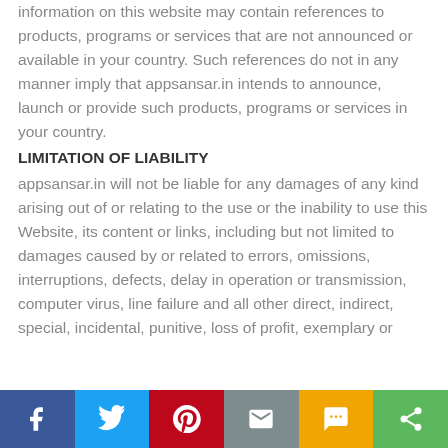information on this website may contain references to products, programs or services that are not announced or available in your country. Such references do not in any manner imply that appsansar.in intends to announce, launch or provide such products, programs or services in your country.
LIMITATION OF LIABILITY
appsansar.in will not be liable for any damages of any kind arising out of or relating to the use or the inability to use this Website, its content or links, including but not limited to damages caused by or related to errors, omissions, interruptions, defects, delay in operation or transmission, computer virus, line failure and all other direct, indirect, special, incidental, punitive, loss of profit, exemplary or
[Figure (infographic): Social sharing bar with icons for Facebook, Twitter, Pinterest, Email, SMS, and Share]